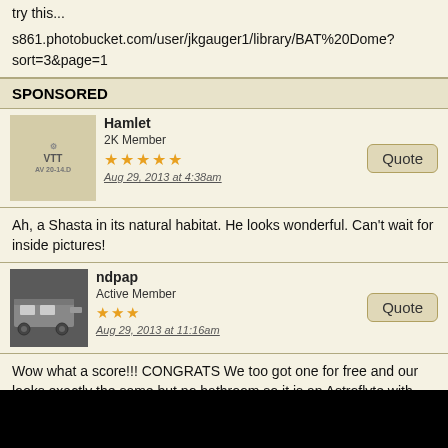try this...
s861.photobucket.com/user/jkgauger1/library/BAT%20Dome?
sort=3&page=1
SPONSORED
Hamlet
2K Member
Aug 29, 2013 at 4:38am
Ah, a Shasta in its natural habitat. He looks wonderful. Can't wait for inside pictures!
ndpap
Active Member
Aug 29, 2013 at 11:16am
Wow what a score!!! CONGRATS We too got one for free and our looks exactly the same but no bathroom so it is an Astroflyte with the gaucho bed across the back... We go it in april and have already rebuild the rear, the front and removed the roof to re-panel the ceiling. Oh and removed old floor and replaced with new VCT. My boyfriend just rebuild the guacho to accommodate an under bed AC and the new mattress arrives today. If you